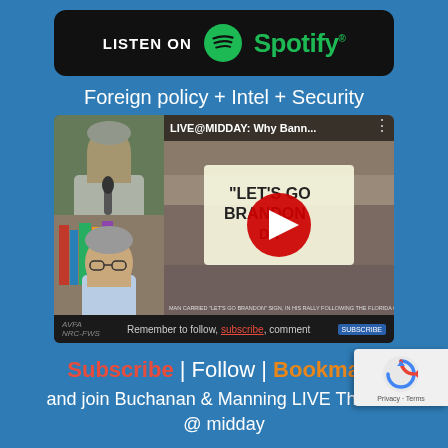[Figure (logo): Listen on Spotify button - black rounded rectangle with Spotify logo and wordmark in green]
Foreign policy + Intel + Security
[Figure (screenshot): YouTube video thumbnail showing LIVE@MIDDAY: Why Bann... with a play button, featuring video call participants and a news image of people with a 'Let's Go Brandon' sign. Bottom bar reads: Remember to follow, subscribe, comment]
Subscribe | Follow | Bookmark
and join Buchanan & Manning LIVE Thursday @ midday